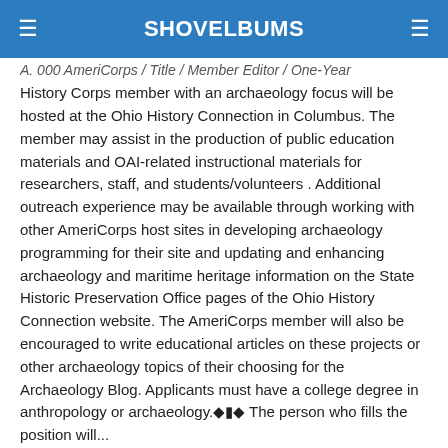SHOVELBUMS
History Corps member with an archaeology focus will be hosted at the Ohio History Connection in Columbus. The member may assist in the production of public education materials and OAI-related instructional materials for researchers, staff, and students/volunteers . Additional outreach experience may be available through working with other AmeriCorps host sites in developing archaeology programming for their site and updating and enhancing archaeology and maritime heritage information on the State Historic Preservation Office pages of the Ohio History Connection website. The AmeriCorps member will also be encouraged to write educational articles on these projects or other archaeology topics of their choosing for the Archaeology Blog. Applicants must have a college degree in anthropology or archaeology.◆▮◆  The person who fills the position will...
Continue reading
Tags:
#Anthropology, #CRM, #Cultural Resource Management